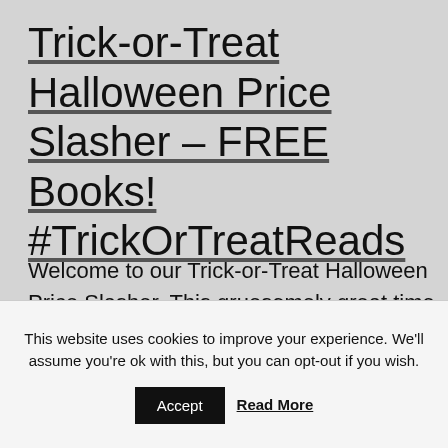Trick-or-Treat Halloween Price Slasher – FREE Books! #TrickOrTreatReads
Welcome to our Trick-or-Treat Halloween Price Slasher. This gruesomely great time of year is
This website uses cookies to improve your experience. We'll assume you're ok with this, but you can opt-out if you wish.
Accept  Read More